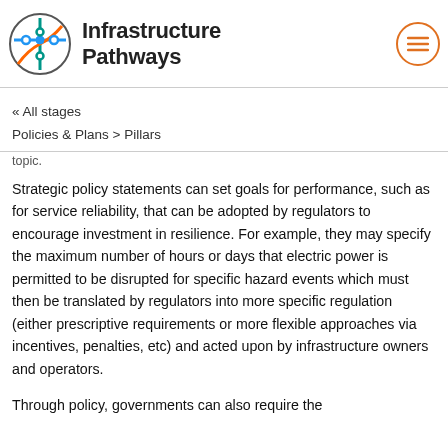Infrastructure Pathways
« All stages
Policies & Plans > Pillars
topic.
Strategic policy statements can set goals for performance, such as for service reliability, that can be adopted by regulators to encourage investment in resilience. For example, they may specify the maximum number of hours or days that electric power is permitted to be disrupted for specific hazard events which must then be translated by regulators into more specific regulation (either prescriptive requirements or more flexible approaches via incentives, penalties, etc) and acted upon by infrastructure owners and operators.
Through policy, governments can also require the